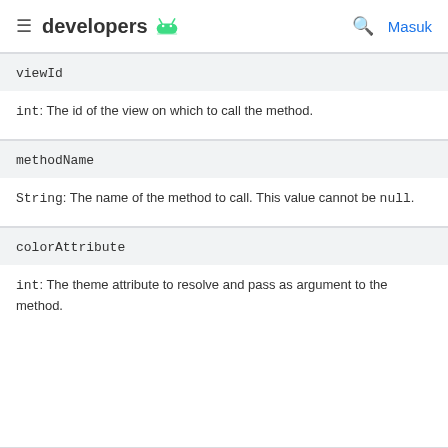developers [Android logo] [search] Masuk
| Parameter | Description |
| --- | --- |
| viewId | int: The id of the view on which to call the method. |
| methodName | String: The name of the method to call. This value cannot be null. |
| colorAttribute | int: The theme attribute to resolve and pass as argument to the method. |